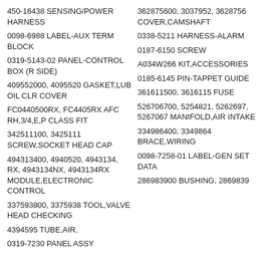450-16438 SENSING/POWER HARNESS
362875600, 3037952, 3628756 COVER,CAMSHAFT
0098-6988 LABEL-AUX TERM BLOCK
0338-5211 HARNESS-ALARM
0319-5143-02 PANEL-CONTROL BOX (R SIDE)
0187-6150 SCREW
409552000, 4095520 GASKET,LUB OIL CLR COVER
A034W266 KIT,ACCESSORIES
FC0440500RX, FC4405RX AFC RH,3/4,E,P CLASS FIT
0185-6145 PIN-TAPPET GUIDE
342511100, 3425111 SCREW,SOCKET HEAD CAP
361611500, 3616115 FUSE
494313400, 4940520, 4943134, RX, 4943134NX, 4943134RX MODULE,ELECTRONIC CONTROL
526706700, 5254821, 5262697, 5267067 MANIFOLD,AIR INTAKE
337593800, 3375938 TOOL,VALVE HEAD CHECKING
334986400, 3349864 BRACE,WIRING
4394595 TUBE,AIR,
0098-7258-01 LABEL-GEN SET DATA
0319-7230 PANEL ASSY
286983900 BUSHING, 2869839